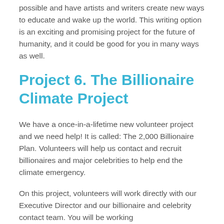possible and have artists and writers create new ways to educate and wake up the world. This writing option is an exciting and promising project for the future of humanity, and it could be good for you in many ways as well.
Project 6. The Billionaire Climate Project
We have a once-in-a-lifetime new volunteer project and we need help! It is called: The 2,000 Billionaire Plan. Volunteers will help us contact and recruit billionaires and major celebrities to help end the climate emergency.
On this project, volunteers will work directly with our Executive Director and our billionaire and celebrity contact team. You will be working